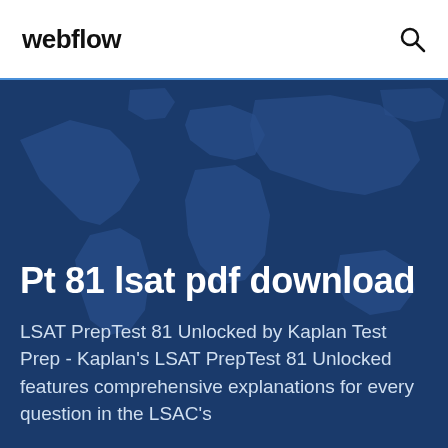webflow
[Figure (illustration): World map silhouette on dark blue background serving as hero banner]
Pt 81 lsat pdf download
LSAT PrepTest 81 Unlocked by Kaplan Test Prep - Kaplan's LSAT PrepTest 81 Unlocked features comprehensive explanations for every question in the LSAC's